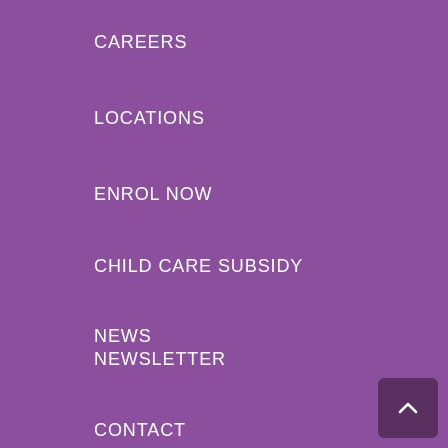CAREERS
LOCATIONS
ENROL NOW
CHILD CARE SUBSIDY
NEWS
NEWSLETTER
CONTACT
Regional Early Education & Development Inc. acknowledges the Traditional Custodians of the lands on which our services sit and throughout Australia. We recognise the continuing connection to lands, waters and communities. We pay our respects to Aboriginal and Torres Strait